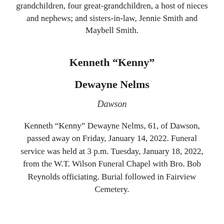grandchildren, four great-grandchildren, a host of nieces and nephews; and sisters-in-law, Jennie Smith and Maybell Smith.
Kenneth “Kenny”
Dewayne Nelms
Dawson
Kenneth “Kenny” Dewayne Nelms, 61, of Dawson, passed away on Friday, January 14, 2022. Funeral service was held at 3 p.m. Tuesday, January 18, 2022, from the W.T. Wilson Funeral Chapel with Bro. Bob Reynolds officiating. Burial followed in Fairview Cemetery.